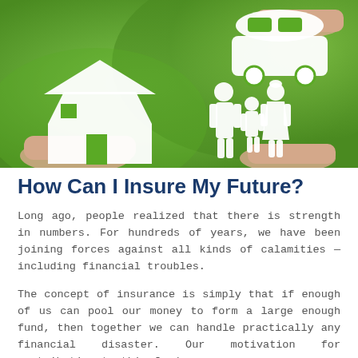[Figure (photo): Hands holding white paper cutouts of a house, a car, and a family (man, woman, child) against a blurred green background, representing insurance coverage.]
How Can I Insure My Future?
Long ago, people realized that there is strength in numbers. For hundreds of years, we have been joining forces against all kinds of calamities — including financial troubles.
The concept of insurance is simply that if enough of us can pool our money to form a large enough fund, then together we can handle practically any financial disaster. Our motivation for contributing to this fund